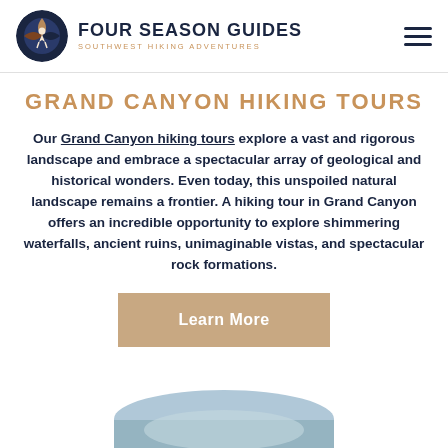FOUR SEASON GUIDES / SOUTHWEST HIKING ADVENTURES
GRAND CANYON HIKING TOURS
Our Grand Canyon hiking tours explore a vast and rigorous landscape and embrace a spectacular array of geological and historical wonders. Even today, this unspoiled natural landscape remains a frontier. A hiking tour in Grand Canyon offers an incredible opportunity to explore shimmering waterfalls, ancient ruins, unimaginable vistas, and spectacular rock formations.
[Figure (other): Learn More button - tan/beige rectangular button with white bold text]
[Figure (photo): Partial circular image at bottom of page showing a landscape scene]